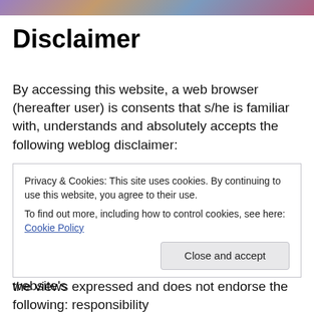Disclaimer
By accessing this website, a web browser (hereafter user) is consents that s/he is familiar with, understands and absolutely accepts the following weblog disclaimer:
The views expressed by the authors on this website do not necessarily reflect the views of this website, those who link to this website, the author's mother, father, sister, brother, uncle, aunt, grandparents, cousins, step relations, any other blood relative and the author himself, this website's
Privacy & Cookies: This site uses cookies. By continuing to use this website, you agree to their use.
To find out more, including how to control cookies, see here: Cookie Policy
Close and accept
the views expressed and does not endorse the following: responsibility